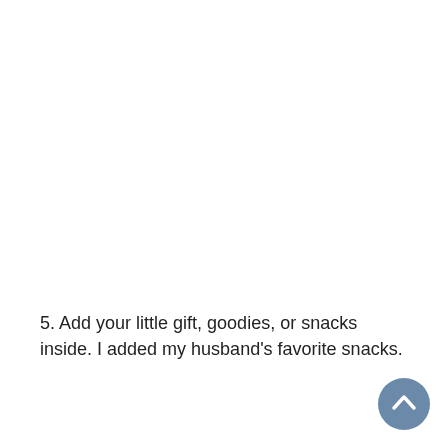5. Add your little gift, goodies, or snacks inside. I added my husband's favorite snacks.